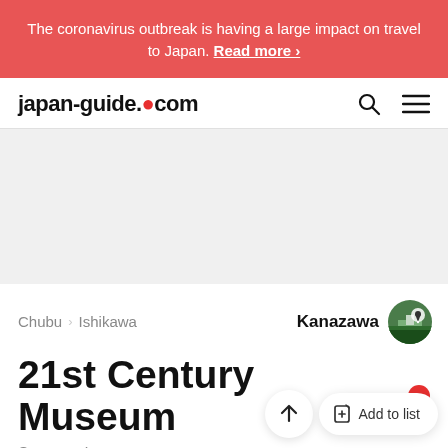The coronavirus outbreak is having a large impact on travel to Japan. Read more ›
japan-guide.com
[Figure (other): Advertisement placeholder area, light gray background]
Chubu › Ishikawa
Kanazawa
21st Century Museum
Spectacular contemporary art museum
Add to list